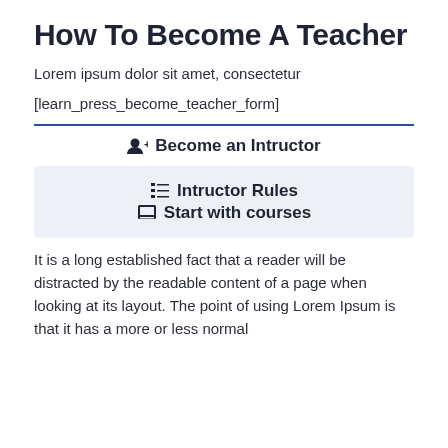How To Become A Teacher
Lorem ipsum dolor sit amet, consectetur
[learn_press_become_teacher_form]
🧑‍🏫+ Become an Intructor
☰ Intructor Rules
📋 Start with courses
It is a long established fact that a reader will be distracted by the readable content of a page when looking at its layout. The point of using Lorem Ipsum is that it has a more or less normal